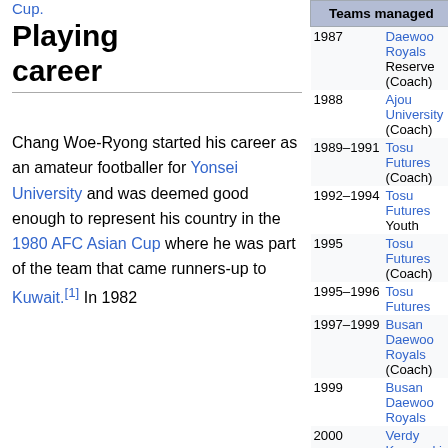Cup.
Playing career
Chang Woe-Ryong started his career as an amateur footballer for Yonsei University and was deemed good enough to represent his country in the 1980 AFC Asian Cup where he was part of the team that came runners-up to Kuwait.[1] In 1982
| Teams managed |
| --- |
| 1987 | Daewoo Royals Reserve (Coach) |
| 1988 | Ajou University (Coach) |
| 1989–1991 | Tosu Futures (Coach) |
| 1992–1994 | Tosu Futures Youth |
| 1995 | Tosu Futures (Coach) |
| 1995–1996 | Tosu Futures |
| 1997–1999 | Busan Daewoo Royals (Coach) |
| 1999 | Busan Daewoo Royals |
| 2000 | Verdy Kawasaki |
| 2001–2003 | Consadole Sapporo (Coach) |
| 2002 | Consadole Sapporo |
| 2003 | Consadole Sapporo |
| 2004 | Incheon United (Coach) |
| 2004–2006 | Incheon United |
| 2008 | Incheon United |
| 2009–2010 | Omiya Ardija |
| 2011 | Qingdao Jonoon |
| 2012 | Dalian Aerbin |
| 2012–2013 | Qingdao Jonoon |
| 2016– | Chongqing Lifan |
* Senior club appearances and goals counted for the